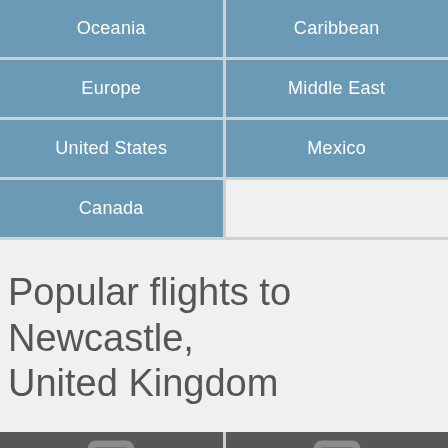| Oceania | Caribbean |
| Europe | Middle East |
| United States | Mexico |
| Canada |  |
Popular flights to Newcastle, United Kingdom
[Figure (illustration): Two dark grey cards side by side, each showing a faint suitcase/luggage icon in the center]
[Figure (illustration): Second dark grey card with faint suitcase/luggage icon]